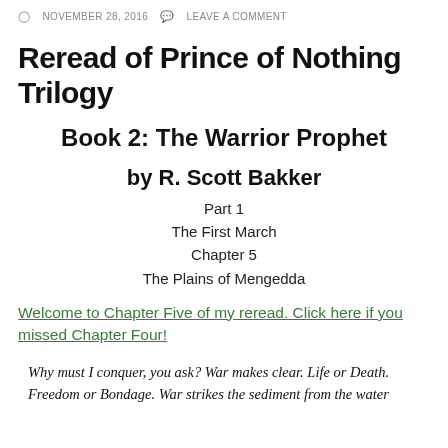NOVEMBER 28, 2016  LEAVE A COMMENT
Reread of Prince of Nothing Trilogy
Book 2: The Warrior Prophet
by R. Scott Bakker
Part 1
The First March
Chapter 5
The Plains of Mengedda
Welcome to Chapter Five of my reread. Click here if you missed Chapter Four!
Why must I conquer, you ask? War makes clear. Life or Death. Freedom or Bondage. War strikes the sediment from the water